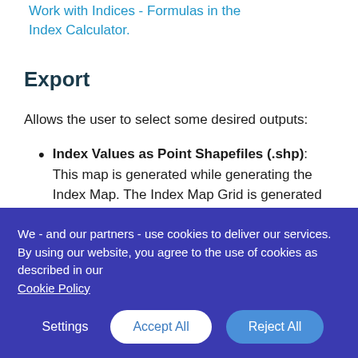Work with Indices - Formulas in the Index Calculator.
Export
Allows the user to select some desired outputs:
Index Values as Point Shapefiles (.shp): This map is generated while generating the Index Map. The Index Map Grid is generated
We - and our partners - use cookies to deliver our services. By using our website, you agree to the use of cookies as described in our Cookie Policy
Settings  Accept All  Reject All